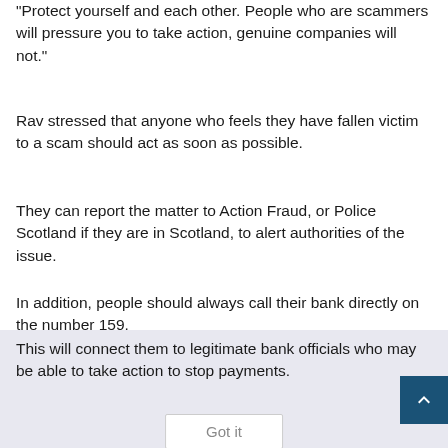“Protect yourself and each other. People who are scammers will pressure you to take action, genuine companies will not.”
Rav stressed that anyone who feels they have fallen victim to a scam should act as soon as possible.
They can report the matter to Action Fraud, or Police Scotland if they are in Scotland, to alert authorities of the issue.
In addition, people should always call their bank directly on the number 159.
This will connect them to legitimate bank officials who may be able to take action to stop payments.